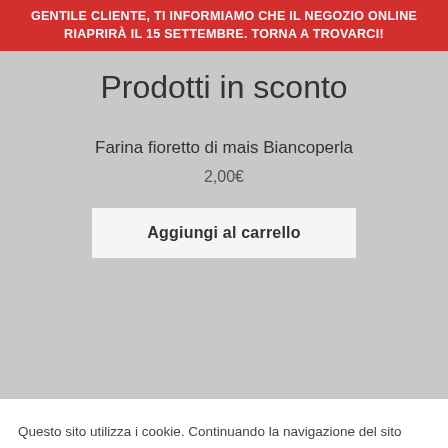GENTILE CLIENTE, TI INFORMIAMO CHE IL NEGOZIO ONLINE RIAPRIRÀ IL 15 SETTEMBRE. TORNA A TROVARCI!
Prodotti in sconto
Farina fioretto di mais Biancoperla
2,00€
Aggiungi al carrello
Questo sito utilizza i cookie. Continuando la navigazione del sito acconsenti all'uso dei cookie. Accetta Informativa estesa